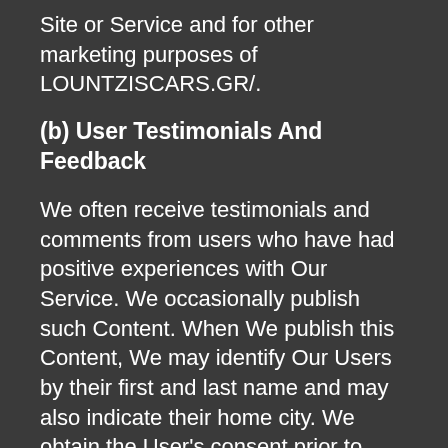Site or Service and for other marketing purposes of LOUNTZISCARS.GR/.
(b) User Testimonials And Feedback
We often receive testimonials and comments from users who have had positive experiences with Our Service. We occasionally publish such Content. When We publish this Content, We may identify Our Users by their first and last name and may also indicate their home city. We obtain the User's consent prior to posting his or her name along with